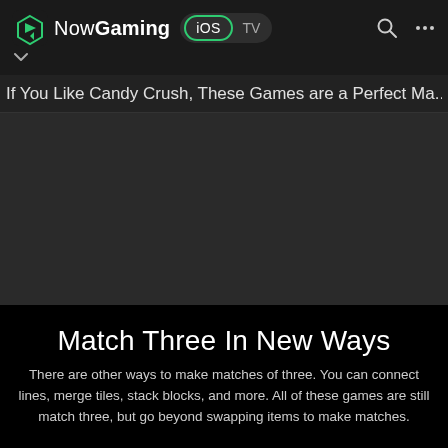NowGaming iOS TV
If You Like Candy Crush, These Games are a Perfect Ma...
[Figure (other): Dark placeholder image area for article content]
Match Three In New Ways
There are other ways to make matches of three. You can connect lines, merge tiles, stack blocks, and more. All of these games are still match three, but go beyond swapping items to make matches.